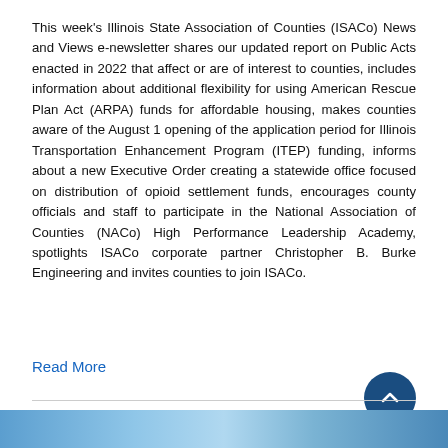This week's Illinois State Association of Counties (ISACo) News and Views e-newsletter shares our updated report on Public Acts enacted in 2022 that affect or are of interest to counties, includes information about additional flexibility for using American Rescue Plan Act (ARPA) funds for affordable housing, makes counties aware of the August 1 opening of the application period for Illinois Transportation Enhancement Program (ITEP) funding, informs about a new Executive Order creating a statewide office focused on distribution of opioid settlement funds, encourages county officials and staff to participate in the National Association of Counties (NACo) High Performance Leadership Academy, spotlights ISACo corporate partner Christopher B. Burke Engineering and invites counties to join ISACo.
Read More
[Figure (photo): Partial photo strip at bottom of page showing blue sky and outdoor scene]